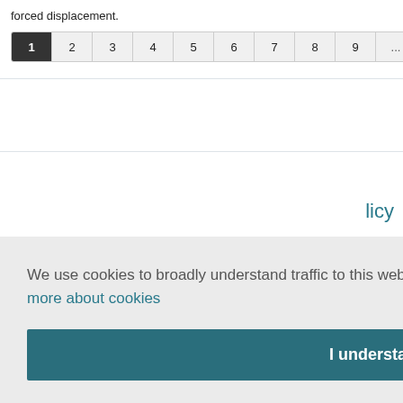forced displacement.
1 2 3 4 5 6 7 8 9 ... next › last »
We use cookies to broadly understand traffic to this website. Continue browsing if this is acceptable.  Learn more about cookies
I understand